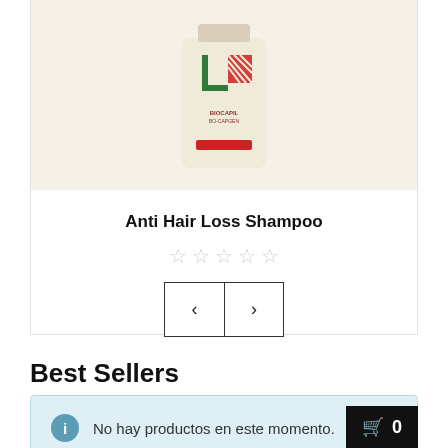[Figure (photo): Anti hair loss shampoo bottle with cream/beige background, red and green logo on front, red stripe at bottom]
Anti Hair Loss Shampoo
★★★★★ (empty stars rating)
10,90 $
[Figure (other): Navigation arrows: left < and right > buttons]
Best Sellers
No hay productos en este momento.